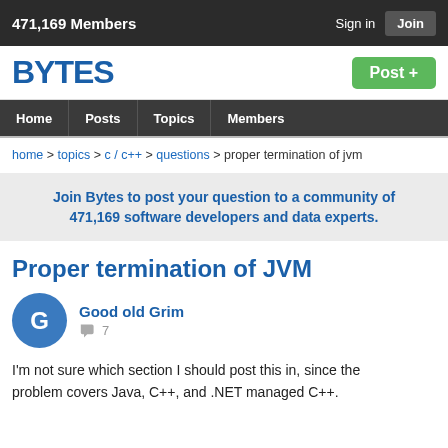471,169 Members   Sign in   Join
BYTES
Post +
Home  Posts  Topics  Members
home > topics > c / c++ > questions > proper termination of jvm
Join Bytes to post your question to a community of 471,169 software developers and data experts.
Proper termination of JVM
Good old Grim
7
I'm not sure which section I should post this in, since the problem covers Java, C++, and .NET managed C++.